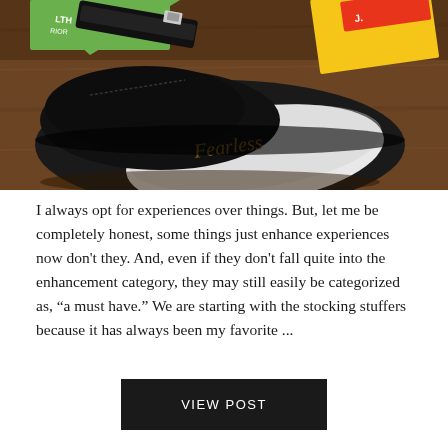[Figure (photo): Overhead photo of a black snapback cap placed face-down on a wooden surface, with colorful product packaging cards visible in the upper corners (green and yellow/red labels). The white underside of the cap brim shows a cursive brand logo.]
I always opt for experiences over things. But, let me be completely honest, some things just enhance experiences now don't they. And, even if they don't fall quite into the enhancement category, they may still easily be categorized as, “a must have.” We are starting with the stocking stuffers because it has always been my favorite ...
VIEW POST